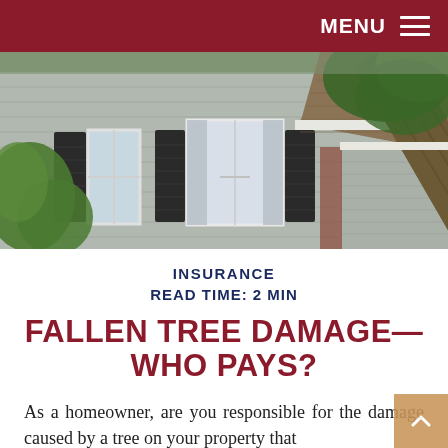MENU ☰
[Figure (photo): Photo of a house with gray vinyl siding and dark shutters. A large fallen tree is leaning against the right side of the roof/garage area, showing storm damage.]
INSURANCE
READ TIME: 2 MIN
FALLEN TREE DAMAGE—WHO PAYS?
As a homeowner, are you responsible for the damage caused by a tree on your property that